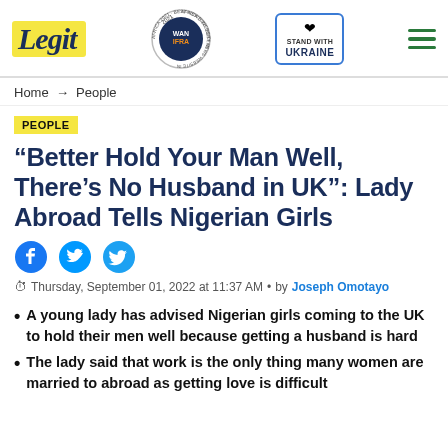Legit | Home → People
PEOPLE
“Better Hold Your Man Well, There’s No Husband in UK”: Lady Abroad Tells Nigerian Girls
Thursday, September 01, 2022 at 11:37 AM • by Joseph Omotayo
A young lady has advised Nigerian girls coming to the UK to hold their men well because getting a husband is hard
The lady said that work is the only thing many women are married to abroad as getting love is difficult